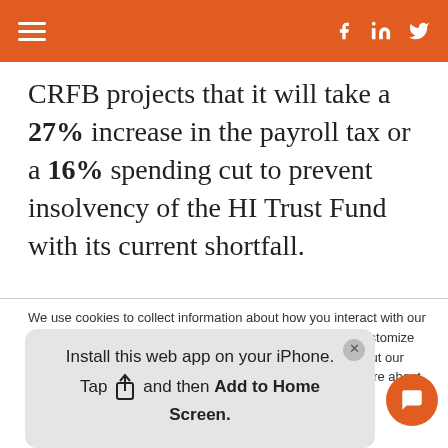≡  f  in  🐦
CRFB projects that it will take a 27% increase in the payroll tax or a 16% spending cut to prevent insolvency of the HI Trust Fund with its current shortfall.
We use cookies to collect information about how you interact with our website. We use this information in order to improve and customize your browsing experience and for analytics and metrics about our visitors both on this website and other media. To find out more about the cookies we use, see our Privacy Policy.
If you decline, your information won't be tracked
Install this web app on your iPhone. Tap [share icon] and then Add to Home Screen.